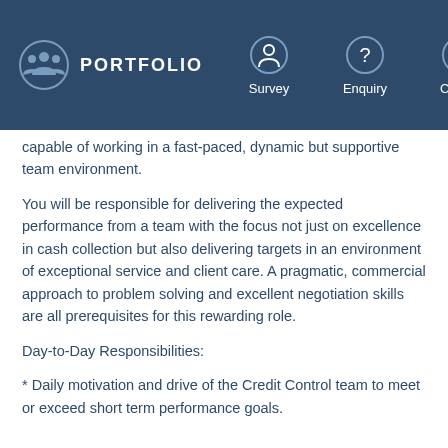PORTFOLIO | Survey | Enquiry | Call Us | Menu
capable of working in a fast-paced, dynamic but supportive team environment.
You will be responsible for delivering the expected performance from a team with the focus not just on excellence in cash collection but also delivering targets in an environment of exceptional service and client care. A pragmatic, commercial approach to problem solving and excellent negotiation skills are all prerequisites for this rewarding role.
Day-to-Day Responsibilities:
* Daily motivation and drive of the Credit Control team to meet or exceed short term performance goals.